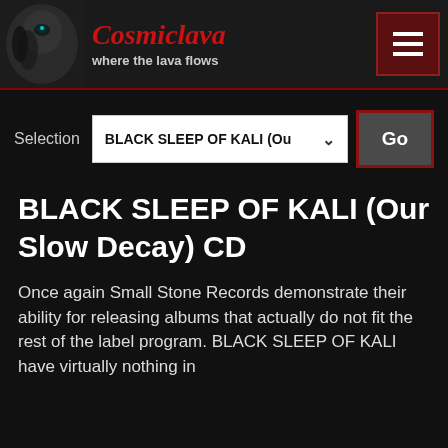Cosmiclava — where the lava flows
Selection  BLACK SLEEP OF KALI (Ou  Go
BLACK SLEEP OF KALI (Our Slow Decay) CD
Once again Small Stone Records demonstrate their ability for releasing albums that actually do not fit the rest of the label program. BLACK SLEEP OF KALI have virtually nothing in